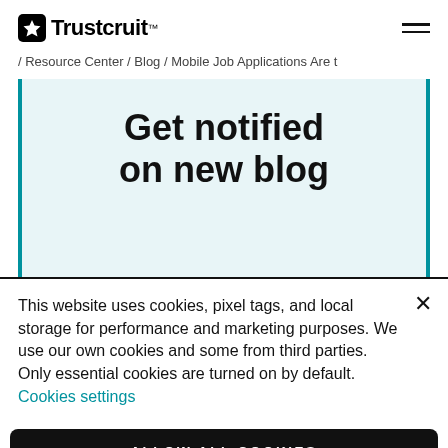Trustcruit™
/ Resource Center / Blog / Mobile Job Applications Are t
Get notified on new blog
This website uses cookies, pixel tags, and local storage for performance and marketing purposes. We use our own cookies and some from third parties. Only essential cookies are turned on by default. Cookies settings
ALLOW ALL COOKIES